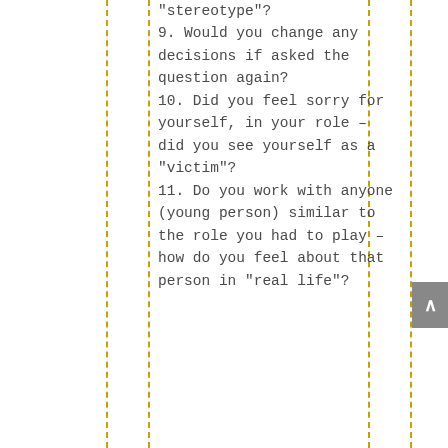“stereotype”?
9. Would you change any decisions if asked the question again?
10. Did you feel sorry for yourself, in your role – did you see yourself as a “victim”?
11. Do you work with anyone (young person) similar to the role you had to play – how do you feel about that person in “real life”?